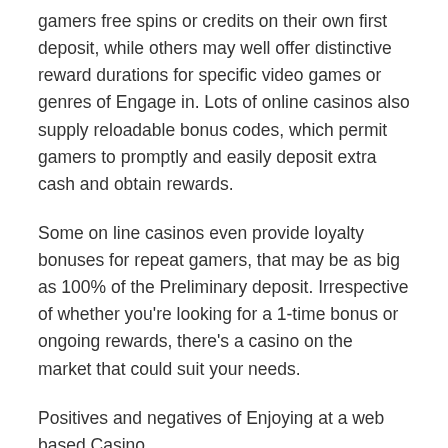gamers free spins or credits on their own first deposit, while others may well offer distinctive reward durations for specific video games or genres of Engage in. Lots of online casinos also supply reloadable bonus codes, which permit gamers to promptly and easily deposit extra cash and obtain rewards.
Some on line casinos even provide loyalty bonuses for repeat gamers, that may be as big as 100% of the Preliminary deposit. Irrespective of whether you're looking for a 1-time bonus or ongoing rewards, there's a casino on the market that could suit your needs.
Positives and negatives of Enjoying at a web based Casino
When you consider playing on line On line casino, the